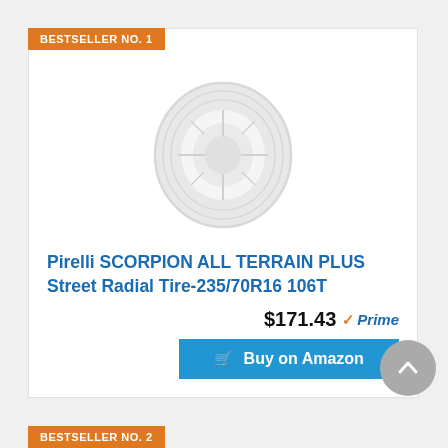BESTSELLER NO. 1
[Figure (photo): White/light Pirelli tire product image on white background]
Pirelli SCORPION ALL TERRAIN PLUS Street Radial Tire-235/70R16 106T
$171.43 Prime
Buy on Amazon
BESTSELLER NO. 2